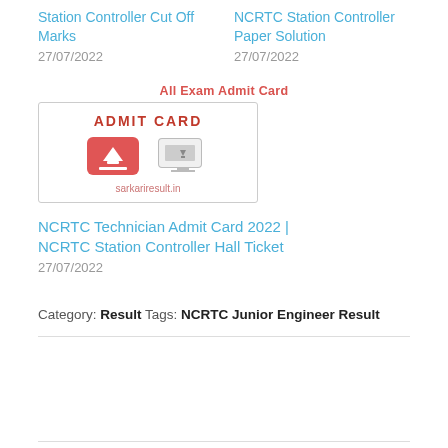Station Controller Cut Off Marks
27/07/2022
NCRTC Station Controller Paper Solution
27/07/2022
[Figure (other): Admit Card promotional image with download button and monitor icon, labeled 'ADMIT CARD' in red, with site label below]
NCRTC Technician Admit Card 2022 | NCRTC Station Controller Hall Ticket
27/07/2022
Category: Result  Tags: NCRTC Junior Engineer Result